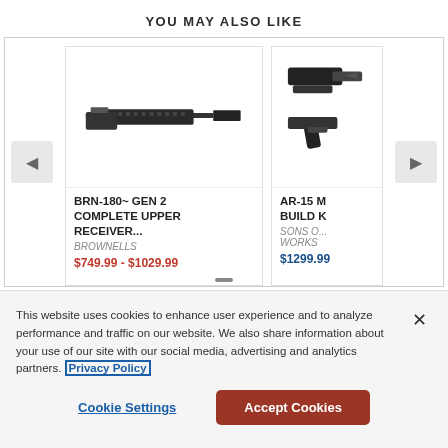YOU MAY ALSO LIKE
[Figure (screenshot): E-commerce product carousel showing two product cards. Left card: BRN-180~ GEN 2 COMPLETE UPPER RECEIVER... by BROWNELLS, priced $749.99 - $1029.99. Right card (partially visible): AR-15 M BUILD K by SONS O... WORKS, priced $1299.99]
This website uses cookies to enhance user experience and to analyze performance and traffic on our website. We also share information about your use of our site with our social media, advertising and analytics partners. Privacy Policy
Cookie Settings
Accept Cookies